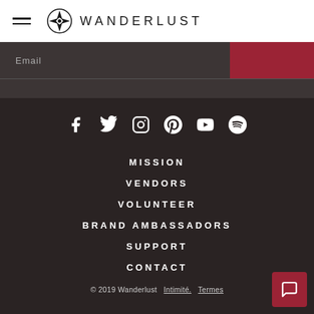WANDERLUST
Email
[Figure (logo): Wanderlust compass logo with navigation icon and wordmark]
[Figure (infographic): Social media icons row: Facebook, Twitter, Instagram, Pinterest, YouTube, Spotify]
MISSION
VENDORS
VOLUNTEER
BRAND AMBASSADORS
SUPPORT
CONTACT
© 2019 Wanderlust   Intimité.   Termes